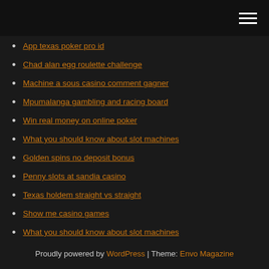[Hamburger menu icon]
App texas poker pro id
Chad alan egg roulette challenge
Machine a sous casino comment gagner
Mpumalanga gambling and racing board
Win real money on online poker
What you should know about slot machines
Golden spins no deposit bonus
Penny slots at sandia casino
Texas holdem straight vs straight
Show me casino games
What you should know about slot machines
Proudly powered by WordPress | Theme: Envo Magazine